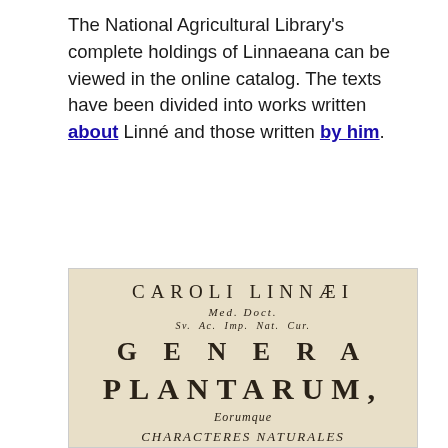The National Agricultural Library's complete holdings of Linnaeana can be viewed in the online catalog. The texts have been divided into works written about Linné and those written by him.
[Figure (photo): A photograph of the title page of Carolus Linnaeus's 'Genera Plantarum', an 18th century botanical work. The page shows text in large spaced lettering: 'CAROLI LINNAEI', 'Med. Doct.', 'Sv. Ac. Imp. Nat. Cur.', 'GENERA', 'PLANTARUM,', 'Eorumque', 'CHARACTERES NATURALES', 'Secundum', 'NUMERUM, FIGURAM,', 'SITUM, & PROPORTIONEM' on aged, cream-colored paper.]